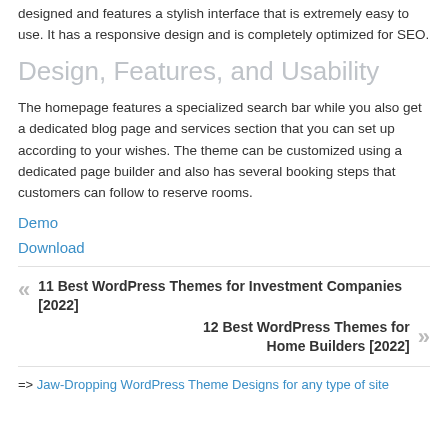designed and features a stylish interface that is extremely easy to use. It has a responsive design and is completely optimized for SEO.
Design, Features, and Usability
The homepage features a specialized search bar while you also get a dedicated blog page and services section that you can set up according to your wishes. The theme can be customized using a dedicated page builder and also has several booking steps that customers can follow to reserve rooms.
Demo
Download
11 Best WordPress Themes for Investment Companies [2022]
12 Best WordPress Themes for Home Builders [2022]
=> Jaw-Dropping WordPress Theme Designs for any type of site